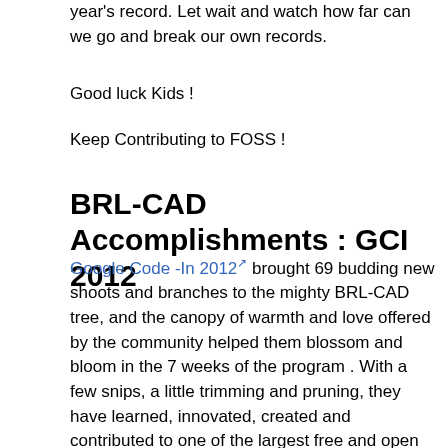year's record. Let wait and watch how far can we go and break our own records.
Good luck Kids !
Keep Contributing to FOSS !
BRL-CAD Accomplishments : GCI 2012
Google Code -In 2012 brought 69 budding new shoots and branches to the mighty BRL-CAD tree, and the canopy of warmth and love offered by the community helped them blossom and bloom in the 7 weeks of the program . With a few snips, a little trimming and pruning, they have learned, innovated, created and contributed to one of the largest free and open source communities in the world, and have contributed to a software that will touch many people around the world. They now have their roots planted in the BRL-CAD community with the successful completion of their tasks and are ready to shelter budding shoots to come!